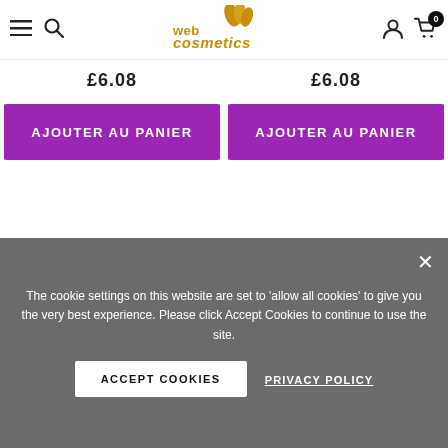[Figure (logo): Web Cosmetics logo with golden text and leaf motif]
£6.08
£6.08
AJOUTER AU PANIER
AJOUTER AU PANIER
The cookie settings on this website are set to 'allow all cookies' to give you the very best experience. Please click Accept Cookies to continue to use the site.
ACCEPT COOKIES
PRIVACY POLICY